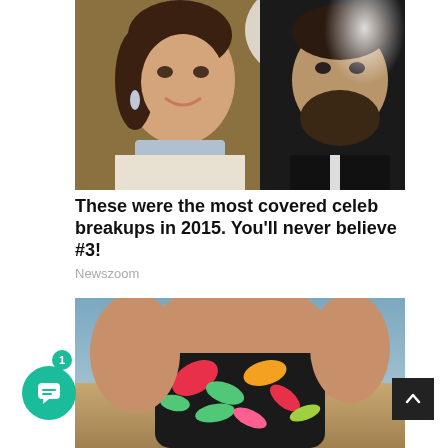[Figure (photo): A woman with dark hair in an updo wearing a diamond necklace and a man with a beard in a tuxedo, shot at what appears to be a red carpet event (likely the Oscars).]
These were the most covered celeb breakups in 2015. You'll never believe #3!
Newszoom
[Figure (photo): A person in a colorful tropical-print swimsuit or outfit, bending forward, photographed from behind against a sandy background.]